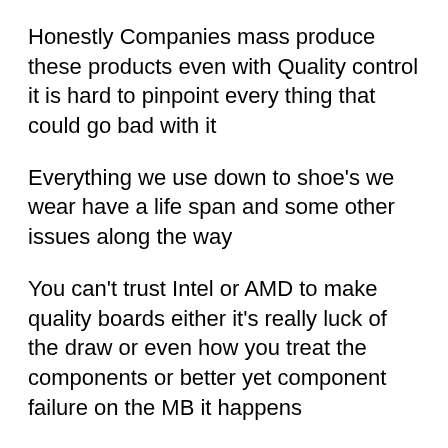Honestly Companies mass produce these products even with Quality control it is hard to pinpoint every thing that could go bad with it
Everything we use down to shoe's we wear have a life span and some other issues along the way
You can't trust Intel or AMD to make quality boards either it's really luck of the draw or even how you treat the components or better yet component failure on the MB it happens
We trouble shoot issues all the time and honestly it's just one of those things only thing we can hope now is that Brian get's justice and a board that is functioning properly to his wishes